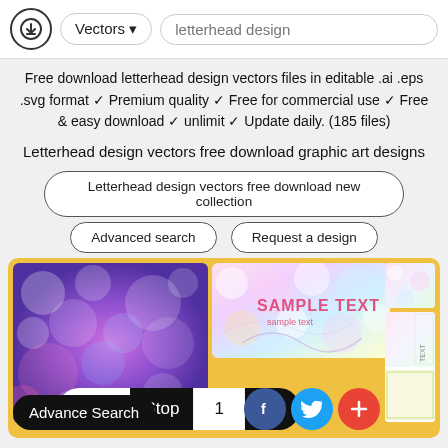Vectors ▾  letterhead design
Free download letterhead design vectors files in editable .ai .eps .svg format ✓ Premium quality ✓ Free for commercial use ✓ Free & easy download ✓ unlimit ✓ Update daily. (185 files)
Letterhead design vectors free download graphic art designs
Letterhead design vectors free download new collection
Advanced search   Request a design
[Figure (screenshot): Gallery of letterhead design vector thumbnails with colorful bokeh backgrounds and sample text, with a pagination bar (Page: Stop 1 Go!), Advance Search button, and social media buttons (Facebook, Twitter, Plus)]